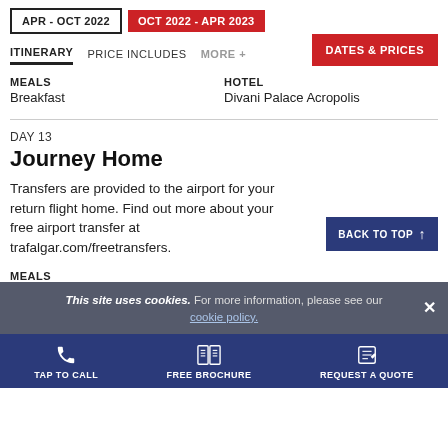APR - OCT 2022 | OCT 2022 - APR 2023
ITINERARY | PRICE INCLUDES | MORE + | DATES & PRICES
MEALS
Breakfast
HOTEL
Divani Palace Acropolis
DAY 13
Journey Home
Transfers are provided to the airport for your return flight home. Find out more about your free airport transfer at trafalgar.com/freetransfers.
MEALS
This site uses cookies. For more information, please see our cookie policy.
TAP TO CALL | FREE BROCHURE | REQUEST A QUOTE